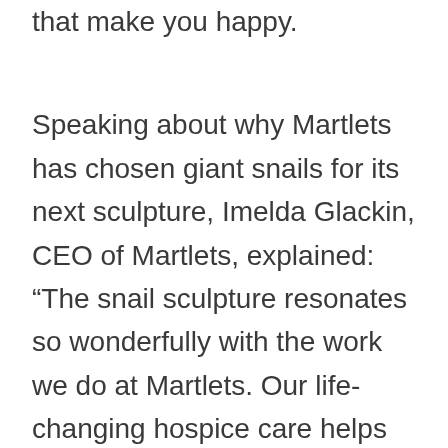that make you happy.
Speaking about why Martlets has chosen giant snails for its next sculpture, Imelda Glackin, CEO of Martlets, explained: “The snail sculpture resonates so wonderfully with the work we do at Martlets. Our life-changing hospice care helps people do the things they love with the time they have. In this fast paced city it’s often hard to remember to slow down and